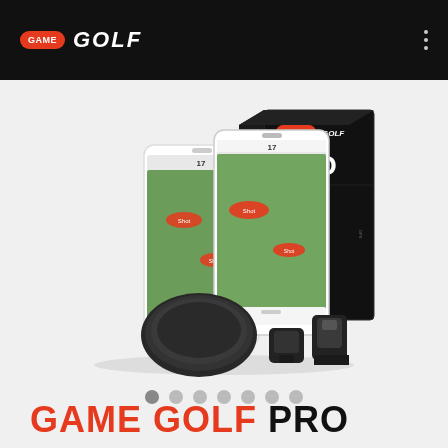GAME GOLF
[Figure (photo): Game Golf PRO product photo showing two smartphones displaying GPS golf tracking app with course map and shot data, a black round device, mounting accessories, and the PRO product box with #1 GPS Tracker branding]
[Figure (other): Carousel navigation dots, 7 dots with first one active/darker]
GAME GOLF PRO